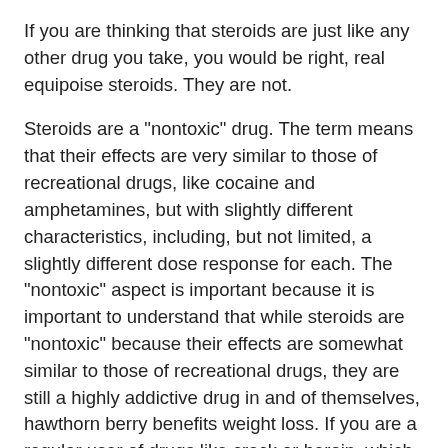If you are thinking that steroids are just like any other drug you take, you would be right, real equipoise steroids. They are not.
Steroids are a "nontoxic" drug. The term means that their effects are very similar to those of recreational drugs, like cocaine and amphetamines, but with slightly different characteristics, including, but not limited, a slightly different dose response for each. The "nontoxic" aspect is important because it is important to understand that while steroids are "nontoxic" because their effects are somewhat similar to those of recreational drugs, they are still a highly addictive drug in and of themselves, hawthorn berry benefits weight loss. If you are a regular user of drugs like crack or heroin, which have a high dependency ratio, then you are well aware that these drugs are highly addictive. However, with steroids, your body is taking